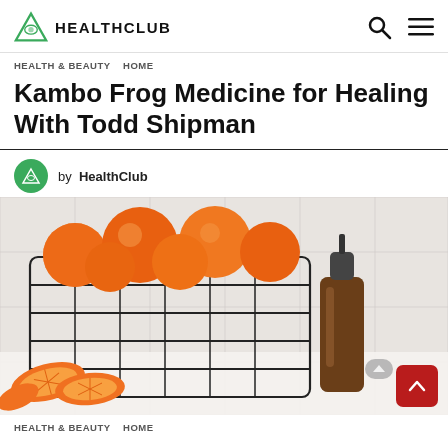HEALTHCLUB
HEALTH & BEAUTY  HOME
Kambo Frog Medicine for Healing With Todd Shipman
by HealthClub
[Figure (photo): A wire basket filled with whole oranges alongside sliced orange segments and a dark amber glass dropper bottle, placed on a white marble surface against a white tile background.]
HEALTH & BEAUTY  HOME